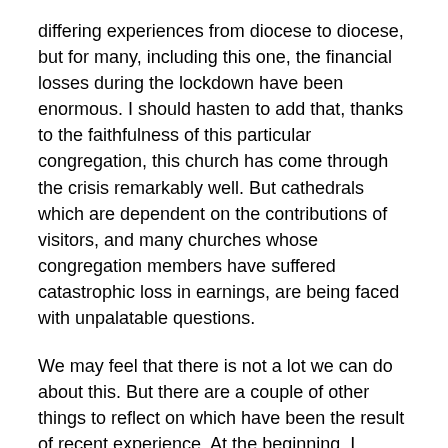differing experiences from diocese to diocese, but for many, including this one, the financial losses during the lockdown have been enormous. I should hasten to add that, thanks to the faithfulness of this particular congregation, this church has come through the crisis remarkably well. But cathedrals which are dependent on the contributions of visitors, and many churches whose congregation members have suffered catastrophic loss in earnings, are being faced with unpalatable questions.
We may feel that there is not a lot we can do about this. But there are a couple of other things to reflect on which have been the result of recent experience. At the beginning, I mentioned those hundreds if not thousands of people who have been tuning in to church services when they would not have considered doing that before. What we are to do for them, to encourage their growth in faith, is something for us all to pray about and not be afraid to offer our suggestions.
The other thing I have often been aware of in past times, and